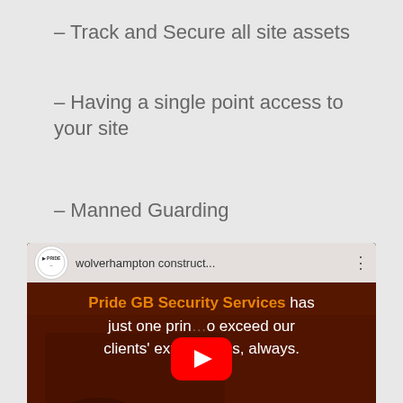– Track and Secure all site assets
– Having a single point access to your site
– Manned Guarding
[Figure (screenshot): YouTube video thumbnail for Pride GB Security Services - wolverhampton construct... video. Shows a dark reddish-brown background with a vehicle, the Pride logo in a circle, video title 'wolverhampton construct...', and overlaid text: 'Pride GB Security Services has just one prin[ciple] to exceed our clients' expectations, always.' with a YouTube play button in center.]